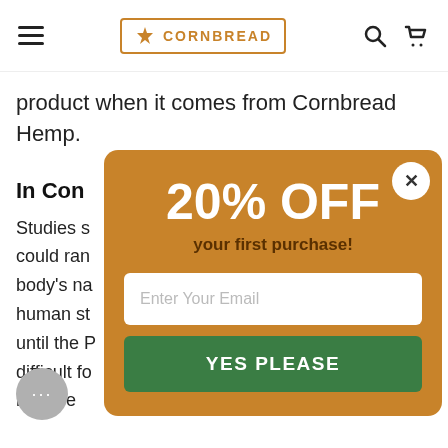CORNBREAD (logo with hamburger menu, search, and cart icons)
product when it comes from Cornbread Hemp.
In Con
Studies s could ran body's na human st until the P difficult fo h e
[Figure (screenshot): Modal popup with orange/amber background showing '20% OFF your first purchase!' promotional offer with an email input field and 'YES PLEASE' green button, with an X close button in the top right corner]